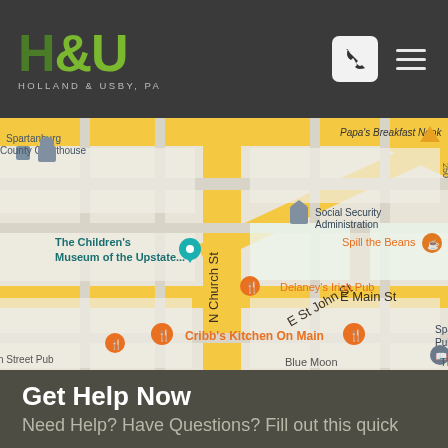[Figure (logo): Holland & Usby, PA law firm logo with H&U monogram in green on dark background]
[Figure (map): Google Maps street map showing downtown Spartanburg area with landmarks: Spartanburg County Courthouse, The Children's Museum of the Upstate, Social Security Administration, Spill the Beans, Delaney's Irish Pub, Cribb's Kitchen On Main, Spartanburg County Public Libraries, Blue Moon, Street Pub, E Main St, N Church St, E St John St]
Get Help Now
Need Help? Have Questions? Fill out this quick